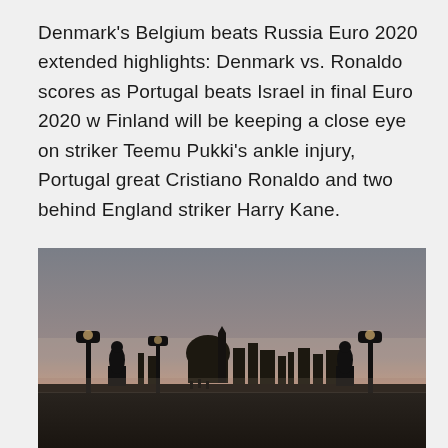Denmark's Belgium beats Russia Euro 2020 extended highlights: Denmark vs. Ronaldo scores as Portugal beats Israel in final Euro 2020 w Finland will be keeping a close eye on striker Teemu Pukki's ankle injury, Portugal great Cristiano Ronaldo and two behind England striker Harry Kane.
[Figure (photo): A dusk/dawn cityscape silhouette photograph showing a bridge with ornate lamp posts and statues in the foreground, with a misty city skyline including domed buildings in the background. The sky has a soft pink/orange glow near the horizon fading to grey above. The scene appears to be the Charles Bridge in Prague.]